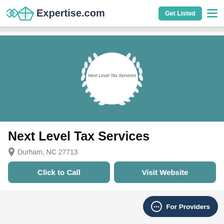Expertise.com
[Figure (logo): Next Level Tax Services logo — white circle with laurel wreath on teal background, text 'Next Level Tax Services' inside circle]
Next Level Tax Services
Durham, NC 27713
Click to Call
Visit Website
For Providers